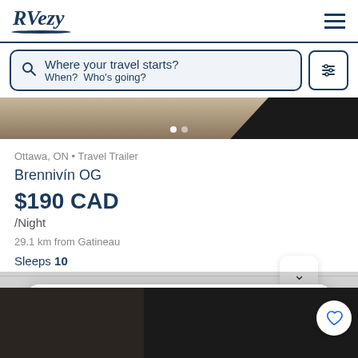RVezy
Where your travel starts? When? Who's going?
[Figure (photo): Partial photo of an RV or travel trailer, showing sandy/beige surface and dark corner, with two pagination dots at bottom]
Ottawa, ON • Travel Trailer
Brennivín OG
$190 CAD /Night
29.1 km from Gatineau
Sleeps 10
When do you typically reserve your campsite(s)?
Reply
[Figure (photo): Partial photos at bottom of page: dark interior on left, dark exterior on right with circular heart/favorite button]